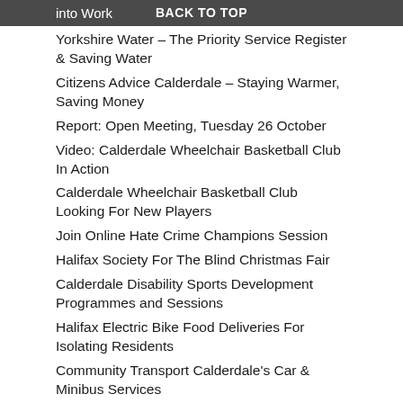into Work   BACK TO TOP
Yorkshire Water – The Priority Service Register & Saving Water
Citizens Advice Calderdale – Staying Warmer, Saving Money
Report: Open Meeting, Tuesday 26 October
Video: Calderdale Wheelchair Basketball Club In Action
Calderdale Wheelchair Basketball Club Looking For New Players
Join Online Hate Crime Champions Session
Halifax Society For The Blind Christmas Fair
Calderdale Disability Sports Development Programmes and Sessions
Halifax Electric Bike Food Deliveries For Isolating Residents
Community Transport Calderdale's Car & Minibus Services
Disabled Driving: Baywatch 2021 Results out now!